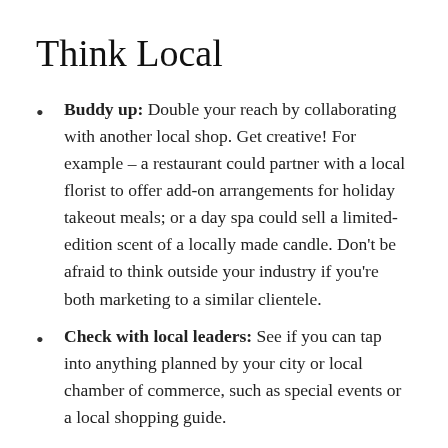Think Local
Buddy up: Double your reach by collaborating with another local shop. Get creative! For example – a restaurant could partner with a local florist to offer add-on arrangements for holiday takeout meals; or a day spa could sell a limited-edition scent of a locally made candle. Don't be afraid to think outside your industry if you're both marketing to a similar clientele.
Check with local leaders: See if you can tap into anything planned by your city or local chamber of commerce, such as special events or a local shopping guide.